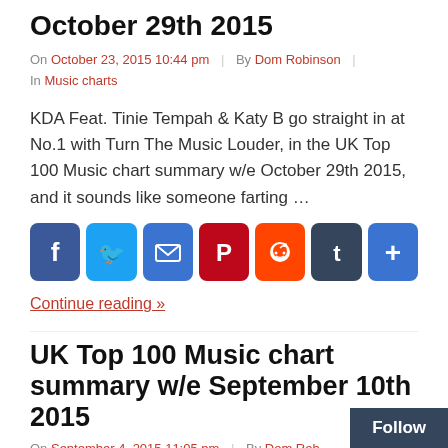October 29th 2015
On October 23, 2015 10:44 pm | By Dom Robinson | In Music charts
KDA Feat. Tinie Tempah & Katy B go straight in at No.1 with Turn The Music Louder, in the UK Top 100 Music chart summary w/e October 29th 2015, and it sounds like someone farting …
[Figure (infographic): Social sharing icon buttons: Facebook, Twitter, Email, Pinterest, Reddit, Tumblr, More]
Continue reading »
UK Top 100 Music chart summary w/e September 10th 2015
On September 4, 2015 11:05 pm | By Dom Robinson